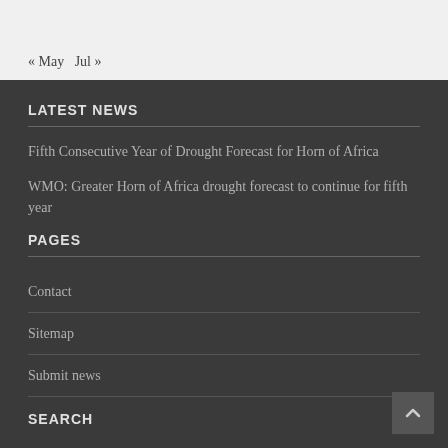« May   Jul »
LATEST NEWS
Fifth Consecutive Year of Drought Forecast for Horn of Africa
WMO: Greater Horn of Africa drought forecast to continue for fifth year
PAGES
Contact
Sitemap
Submit news
SEARCH